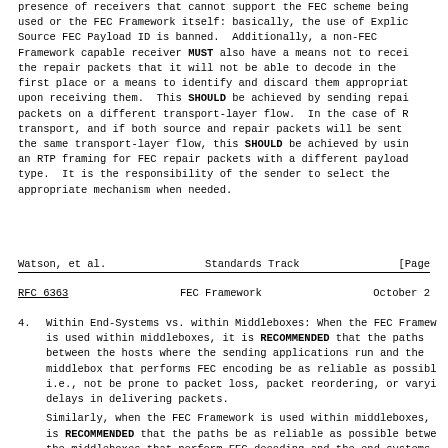presence of receivers that cannot support the FEC scheme being used or the FEC Framework itself: basically, the use of Explicit Source FEC Payload ID is banned.  Additionally, a non-FEC Framework capable receiver MUST also have a means not to receive the repair packets that it will not be able to decode in the first place or a means to identify and discard them appropriately upon receiving them.  This SHOULD be achieved by sending repair packets on a different transport-layer flow.  In the case of RTP transport, and if both source and repair packets will be sent on the same transport-layer flow, this SHOULD be achieved by using an RTP framing for FEC repair packets with a different payload type.  It is the responsibility of the sender to select the appropriate mechanism when needed.
Watson, et al.                Standards Track                [Page
RFC 6363                      FEC Framework                October 2
4. Within End-Systems vs. within Middleboxes: When the FEC Framework is used within middleboxes, it is RECOMMENDED that the paths between the hosts where the sending applications run and the middlebox that performs FEC encoding be as reliable as possible, i.e., not be prone to packet loss, packet reordering, or varying delays in delivering packets.

Similarly, when the FEC Framework is used within middleboxes, it is RECOMMENDED that the paths be as reliable as possible between the middleboxes that perform FEC decoding and the end-systems where the receiving applications operate.
5. Management of Communication Issues before Reaching the Sending...